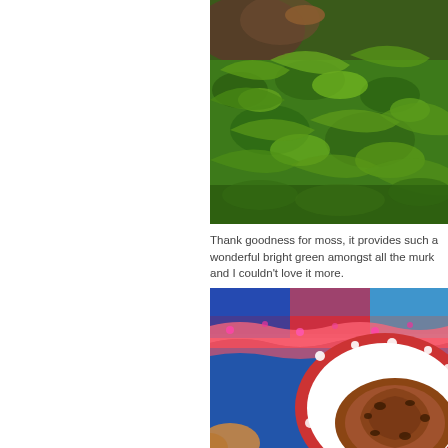[Figure (photo): Close-up photo of bright green moss and ferns growing on forest floor with fallen leaves and wet rocks visible]
Thank goodness for moss, it provides such a wonderful bright green amongst all the murk and I couldn't love it more.
[Figure (photo): Close-up photo of a pastry or cinnamon roll on a white plate with red polka dot rim, on a colourful knitted background]